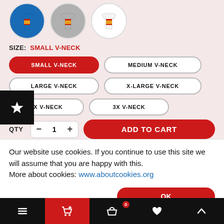[Figure (photo): Three circular t-shirt color option thumbnails: blue, gray, and white versions of the same graphic tee]
SIZE: SMALL V-NECK
SMALL V-NECK (selected, red button)
MEDIUM V-NECK
LARGE V-NECK
X-LARGE V-NECK
2X V-NECK
3X V-NECK
QTY
ADD TO CART
Our website use cookies. If you continue to use this site we will assume that you are happy with this. More about cookies: www.aboutcookies.org